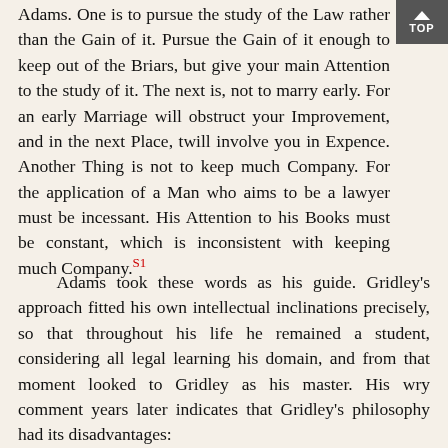Adams. One is to pursue the study of the Law rather than the Gain of it. Pursue the Gain of it enough to keep out of the Briars, but give your main Attention to the study of it. The next is, not to marry early. For an early Marriage will obstruct your Improvement, and in the next Place, twill involve you in Expence. Another Thing is not to keep much Company. For the application of a Man who aims to be a lawyer must be incessant. His Attention to his Books must be constant, which is inconsistent with keeping much Company.[S1]
Adams took these words as his guide. Gridley's approach fitted his own intellectual inclinations precisely, so that throughout his life he remained a student, considering all legal learning his domain, and from that moment looked to Gridley as his master. His wry comment years later indicates that Gridley's philosophy had its disadvantages: